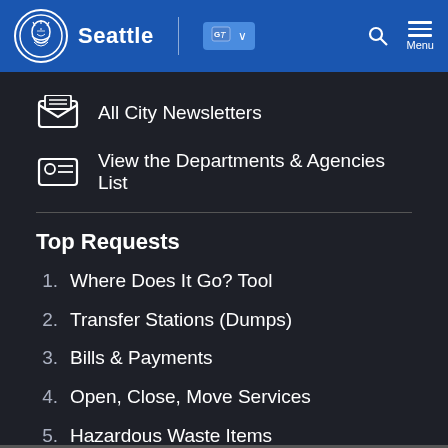Seattle
All City Newsletters
View the Departments & Agencies List
Top Requests
1. Where Does It Go? Tool
2. Transfer Stations (Dumps)
3. Bills & Payments
4. Open, Close, Move Services
5. Hazardous Waste Items